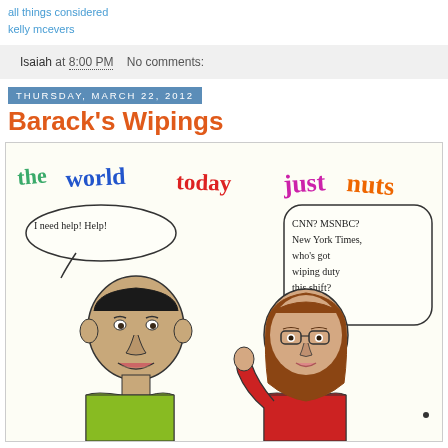all things considered
kelly mcevers
Isaiah at 8:00 PM   No comments:
Thursday, March 22, 2012
Barack's Wipings
[Figure (illustration): A hand-drawn comic titled 'the world today just nuts' showing two caricatures. On the left, a male figure with a speech bubble saying 'I need help! Help!' On the right, a female figure with glasses and red jacket with a speech bubble saying 'CNN? MSNBC? New York Times, who's got wiping duty this shift?']